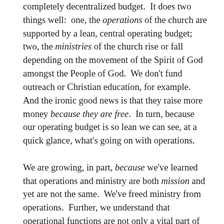completely decentralized budget. It does two things well: one, the operations of the church are supported by a lean, central operating budget; two, the ministries of the church rise or fall depending on the movement of the Spirit of God amongst the People of God. We don't fund outreach or Christian education, for example. And the ironic good news is that they raise more money because they are free. In turn, because our operating budget is so lean we can see, at a quick glance, what's going on with operations.

We are growing, in part, because we've learned that operations and ministry are both mission and yet are not the same. We've freed ministry from operations. Further, we understand that operational functions are not only a vital part of the church's mission but also support